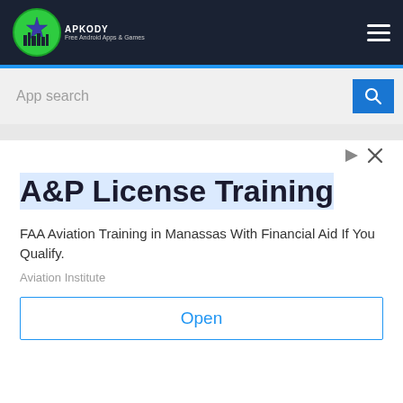[Figure (logo): Apkody logo - green circle with star and city skyline icon, white text 'APKODY' and tagline 'Free Android Apps & Games']
App search
[Figure (screenshot): Advertisement area with play/close icons in top right]
A&P License Training
FAA Aviation Training in Manassas With Financial Aid If You Qualify.
Aviation Institute
Open